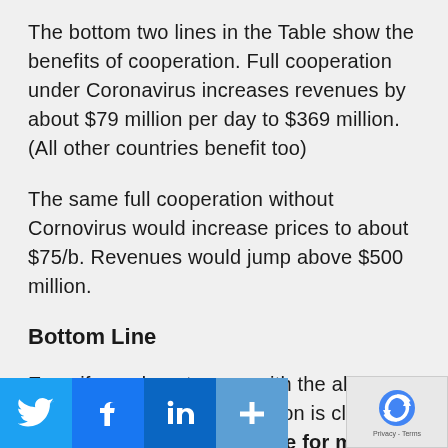The bottom two lines in the Table show the benefits of cooperation. Full cooperation under Coronavirus increases revenues by about $79 million per day to $369 million. (All other countries benefit too)
The same full cooperation without Cornovirus would increase prices to about $75/b. Revenues would jump above $500 million.
Bottom Line
Even if you do not agree with the above numbers, one main conclusion is clear: Higher exports compensate for most of the loss from low prices in the case of a price war. In